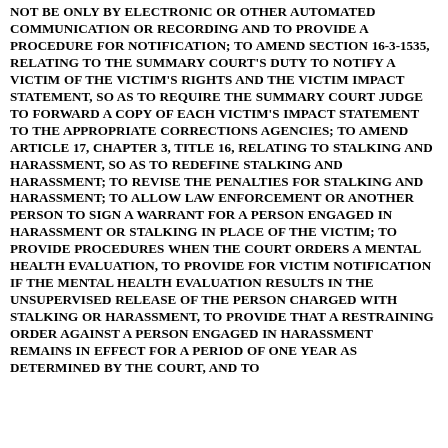NOT BE ONLY BY ELECTRONIC OR OTHER AUTOMATED COMMUNICATION OR RECORDING AND TO PROVIDE A PROCEDURE FOR NOTIFICATION; TO AMEND SECTION 16-3-1535, RELATING TO THE SUMMARY COURT'S DUTY TO NOTIFY A VICTIM OF THE VICTIM'S RIGHTS AND THE VICTIM IMPACT STATEMENT, SO AS TO REQUIRE THE SUMMARY COURT JUDGE TO FORWARD A COPY OF EACH VICTIM'S IMPACT STATEMENT TO THE APPROPRIATE CORRECTIONS AGENCIES; TO AMEND ARTICLE 17, CHAPTER 3, TITLE 16, RELATING TO STALKING AND HARASSMENT, SO AS TO REDEFINE STALKING AND HARASSMENT; TO REVISE THE PENALTIES FOR STALKING AND HARASSMENT; TO ALLOW LAW ENFORCEMENT OR ANOTHER PERSON TO SIGN A WARRANT FOR A PERSON ENGAGED IN HARASSMENT OR STALKING IN PLACE OF THE VICTIM; TO PROVIDE PROCEDURES WHEN THE COURT ORDERS A MENTAL HEALTH EVALUATION, TO PROVIDE FOR VICTIM NOTIFICATION IF THE MENTAL HEALTH EVALUATION RESULTS IN THE UNSUPERVISED RELEASE OF THE PERSON CHARGED WITH STALKING OR HARASSMENT, TO PROVIDE THAT A RESTRAINING ORDER AGAINST A PERSON ENGAGED IN HARASSMENT REMAINS IN EFFECT FOR A PERIOD OF ONE YEAR AS DETERMINED BY THE COURT, AND TO